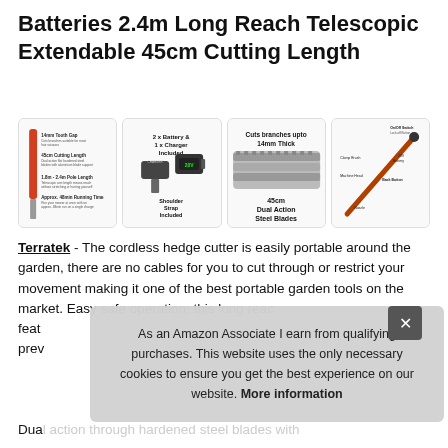Batteries 2.4m Long Reach Telescopic Extendable 45cm Cutting Length
[Figure (infographic): Four product feature panels: 1) telescopic pole with specs (14mm tooth gap, 45cm cutting length, 1.8m-2.4m pole length, approx 48min running time); 2) 2x Battery & 1x Charger Included + Shoulder Strap Included with battery/charger image; 3) Cuts branches upto 14mm Thick, 45cm Dual Action Steel Blades with blade image; 4) diagram of hedge trimmer parts (on/off switch, lock-off button, clamp brush, machine head, back button, nozzle, 20V battery)]
Terratek - The cordless hedge cutter is easily portable around the garden, there are no cables for you to cut through or restrict your movement making it one of the best portable garden tools on the market. Easy safe operation: this long reach... feat... prev...
As an Amazon Associate I earn from qualifying purchases. This website uses the only necessary cookies to ensure you get the best experience on our website. More information
Dua...